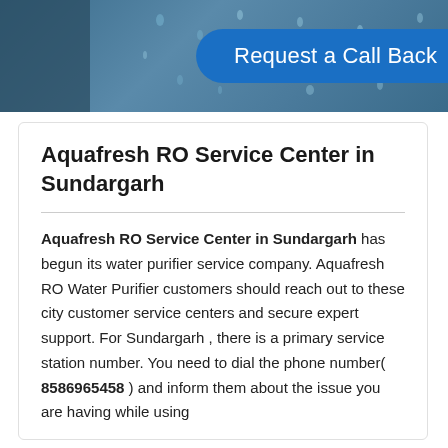[Figure (photo): Header banner with blue/teal background showing water drops and a person, with a 'Request a Call Back' button in the center]
Aquafresh RO Service Center in Sundargarh
Aquafresh RO Service Center in Sundargarh has begun its water purifier service company. Aquafresh RO Water Purifier customers should reach out to these city customer service centers and secure expert support. For Sundargarh , there is a primary service station number. You need to dial the phone number( 8586965458 ) and inform them about the issue you are having while using